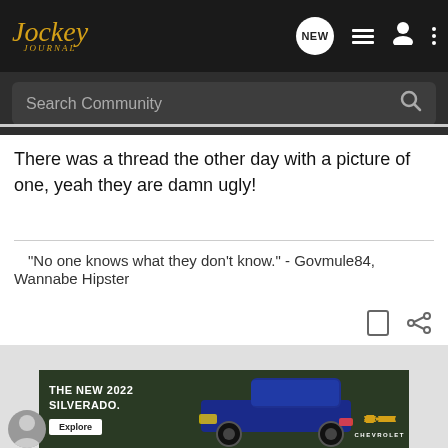[Figure (screenshot): Jockey Journal forum website navigation bar with logo, NEW button, list icon, user icon, and dots menu icon on dark background]
[Figure (screenshot): Search Community search bar on dark gray background with magnifying glass icon]
There was a thread the other day with a picture of one, yeah they are damn ugly!
"No one knows what they don't know." - Govmule84, Wannabe Hipster
[Figure (screenshot): Gray section with Chevrolet 2022 Silverado advertisement banner at bottom and partial user avatar at bottom left]